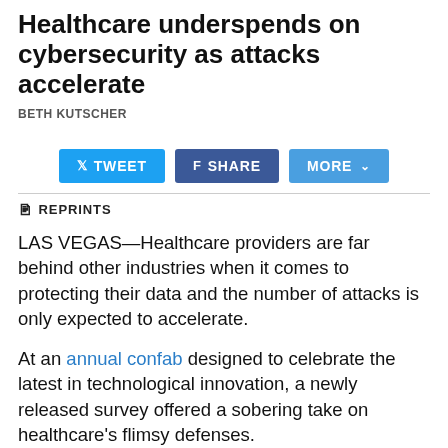Healthcare underspends on cybersecurity as attacks accelerate
BETH KUTSCHER
[Figure (other): Social sharing buttons: Tweet, Share, More]
REPRINTS
LAS VEGAS—Healthcare providers are far behind other industries when it comes to protecting their data and the number of attacks is only expected to accelerate.
At an annual confab designed to celebrate the latest in technological innovation, a newly released survey offered a sobering take on healthcare's flimsy defenses.
Healthcare providers are averaging less than 6% of